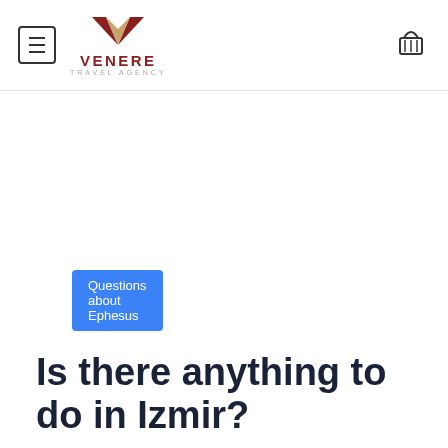VENERE TRAVEL AGENCY
Questions about Ephesus
Is there anything to do in Izmir?